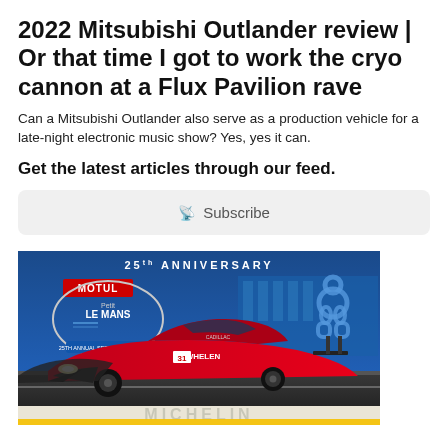2022 Mitsubishi Outlander review | Or that time I got to work the cryo cannon at a Flux Pavilion rave
Can a Mitsubishi Outlander also serve as a production vehicle for a late-night electronic music show? Yes, yes it can.
Get the latest articles through our feed.
Subscribe
[Figure (photo): Advertisement for Petit Le Mans 25th Anniversary event showing a red Cadillac prototype race car on track with Motul/Michelin branding. Text reads '25th ANNIVERSARY', MOTUL, Petit LE MANS, 25th Annual Sept. 28–Oct. 1, 2022. Michelin Man mascot visible in background.]